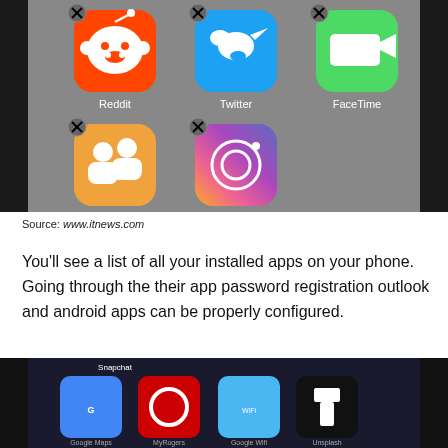[Figure (photo): Screenshot of iPhone home screen in jiggle/delete mode showing app icons: Reddit (orange), Twitter (blue), FaceTime (green), Find Friends (yellow/orange), Instagram (gradient pink/purple), with X delete buttons visible on each icon.]
Source: www.itnews.com
You'll see a list of all your installed apps on your phone. Going through the their app password registration outlook and android apps can be properly configured.
[Figure (photo): Close-up photo of a smartphone screen showing app icons including Google Maps, MyRogers, Snapchat, Google Wifi, Unsplash, tile, and Amazon Alexa apps.]